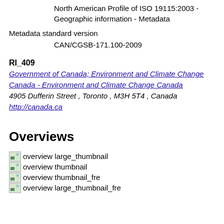North American Profile of ISO 19115:2003 - Geographic information - Metadata
Metadata standard version
        CAN/CGSB-171.100-2009
RI_409
Government of Canada; Environment and Climate Change Canada - Environment and Climate Change Canada
4905 Dufferin Street , Toronto , M3H 5T4 , Canada
http://canada.ca
Overviews
[Figure (other): overview large_thumbnail image placeholder]
[Figure (other): overview thumbnail image placeholder]
[Figure (other): overview thumbnail_fre image placeholder]
[Figure (other): overview large_thumbnail_fre image placeholder]